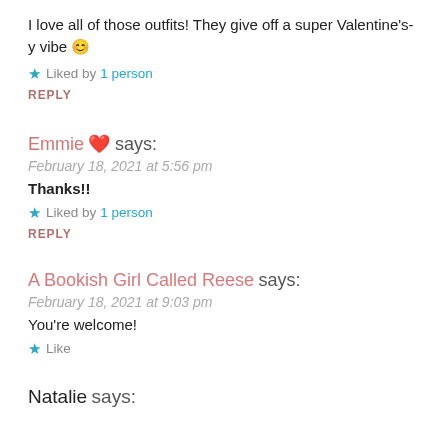I love all of those outfits! They give off a super Valentine's-y vibe 😊
★ Liked by 1 person
REPLY
Emmie 💗 says:
February 18, 2021 at 5:56 pm
Thanks!!
★ Liked by 1 person
REPLY
A Bookish Girl Called Reese says:
February 18, 2021 at 9:03 pm
You're welcome!
★ Like
Natalie says: